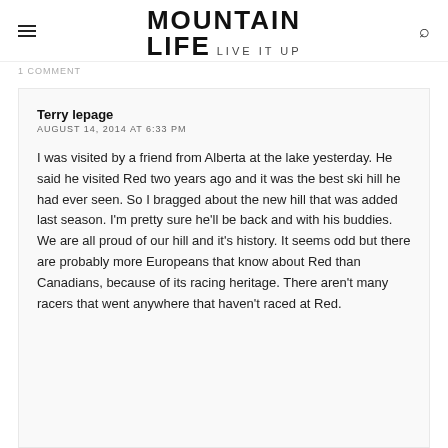MOUNTAIN LIFE — LIVE IT UP
1 COMMENT
Terry lepage
AUGUST 14, 2014 AT 6:33 PM
I was visited by a friend from Alberta at the lake yesterday. He said he visited Red two years ago and it was the best ski hill he had ever seen. So I bragged about the new hill that was added last season. I'm pretty sure he'll be back and with his buddies. We are all proud of our hill and it's history. It seems odd but there are probably more Europeans that know about Red than Canadians, because of its racing heritage. There aren't many racers that went anywhere that haven't raced at Red.